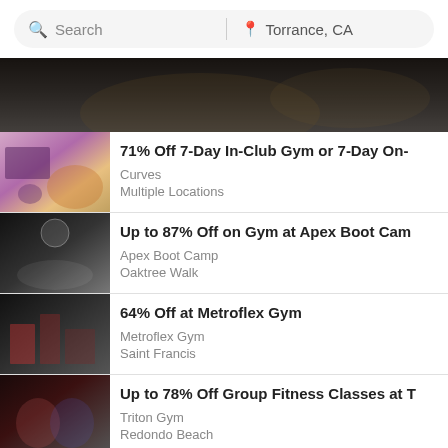[Figure (screenshot): Search bar with 'Search' text on left and 'Torrance, CA' location on right]
[Figure (photo): Dark hero/banner image showing a person exercising]
71% Off 7-Day In-Club Gym or 7-Day On-... | Curves | Multiple Locations
Up to 87% Off on Gym at Apex Boot Camp... | Apex Boot Camp | Oaktree Walk
64% Off at Metroflex Gym | Metroflex Gym | Saint Francis
Up to 78% Off Group Fitness Classes at T... | Triton Gym | Redondo Beach
Up to 88% Off One-Month Gym Members...